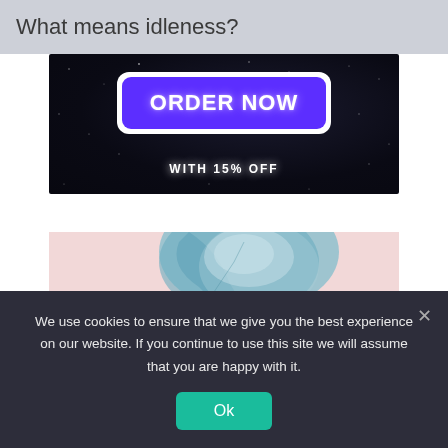What means idleness?
[Figure (infographic): Dark space-themed advertisement banner with a purple 'ORDER NOW' button and white text 'WITH 15% OFF']
[Figure (illustration): Watercolor style illustration showing a blue and pink abstract shape, partially visible]
We use cookies to ensure that we give you the best experience on our website. If you continue to use this site we will assume that you are happy with it.